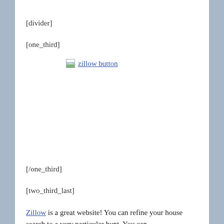[divider]
[one_third]
[Figure (other): Broken image placeholder with alt text 'zillow button']
[/one_third]
[two_third_last]
Zillow is a great website! You can refine your house search to a very particular hunt. You can